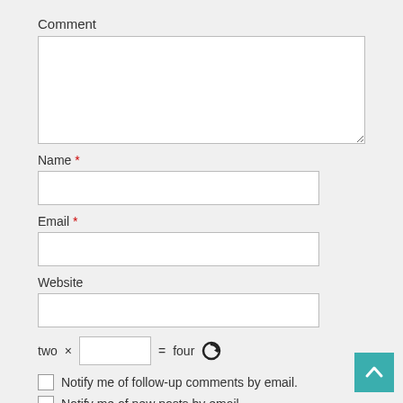Comment
Name *
Email *
Website
two × [input] = four [refresh icon]
Notify me of follow-up comments by email.
Notify me of new posts by email.
POST COMMENT